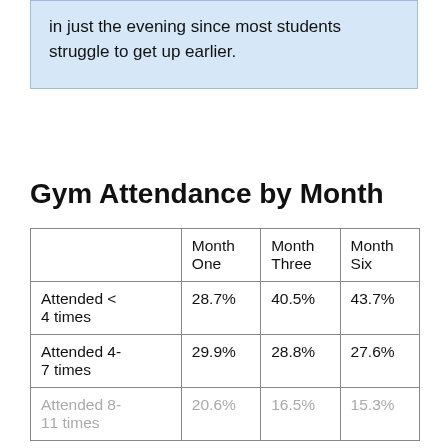in just the evening since most students struggle to get up earlier.
Gym Attendance by Month
|  | Month One | Month Three | Month Six |
| --- | --- | --- | --- |
| Attended < 4 times | 28.7% | 40.5% | 43.7% |
| Attended 4-7 times | 29.9% | 28.8% | 27.6% |
| Attended 8-11 times | 20.6% | 16.5% | 15.3% |